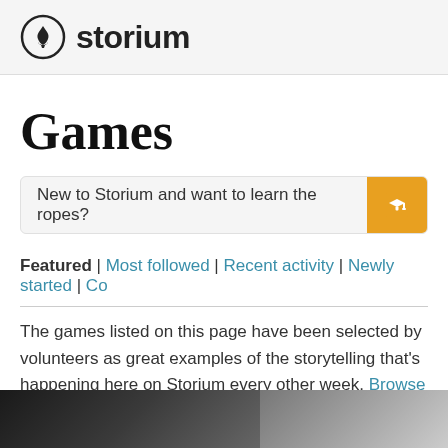storium
Games
New to Storium and want to learn the ropes?
Featured | Most followed | Recent activity | Newly started | Co…
The games listed on this page have been selected by volunteers as great examples of the storytelling that's happening here on Storium every other week. Browse previously featured games...
[Figure (photo): Two partial game thumbnail images at bottom of page]